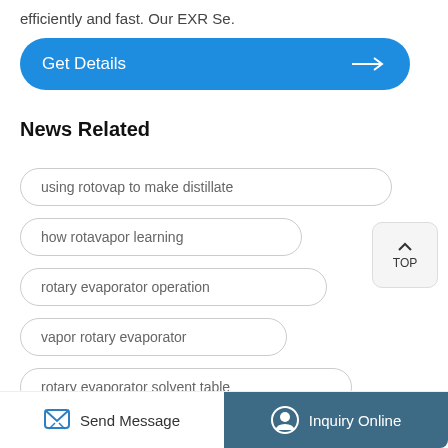efficiently and fast. Our EXR Se.
[Figure (other): Blue rounded button labeled 'Get Details' with a right arrow icon]
News Related
using rotovap to make distillate
how rotavapor learning
rotary evaporator operation
vapor rotary evaporator
rotary evaporator solvent table
Send Message  |  Inquiry Online